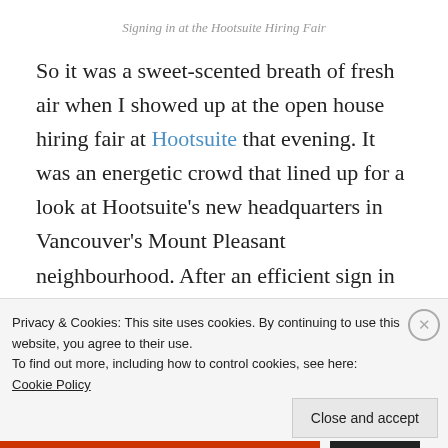Signing in at the Hootsuite Hiring Fair
So it was a sweet-scented breath of fresh air when I showed up at the open house hiring fair at Hootsuite that evening. It was an energetic crowd that lined up for a look at Hootsuite’s new headquarters in Vancouver’s Mount Pleasant neighbourhood. After an efficient sign in process, where my paper resume was cheerfully accepted, we waited in the lobby for a bit and then were released into the rest of the building. Our name tags were colour coded with the department (Marketing
Privacy & Cookies: This site uses cookies. By continuing to use this website, you agree to their use.
To find out more, including how to control cookies, see here: Cookie Policy
Close and accept